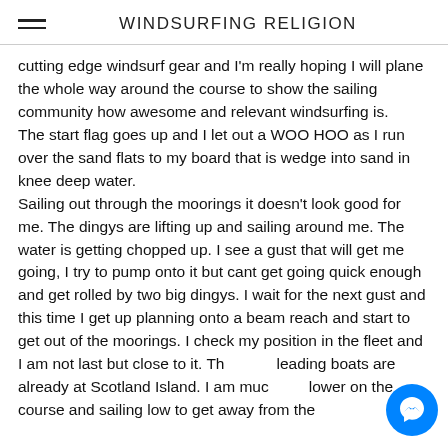WINDSURFING RELIGION
cutting edge windsurf gear and I'm really hoping I will plane the whole way around the course to show the sailing community how awesome and relevant windsurfing is.
The start flag goes up and I let out a WOO HOO as I run over the sand flats to my board that is wedge into sand in knee deep water.
Sailing out through the moorings it doesn't look good for me. The dingys are lifting up and sailing around me. The water is getting chopped up. I see a gust that will get me going, I try to pump onto it but cant get going quick enough and get rolled by two big dingys. I wait for the next gust and this time I get up planning onto a beam reach and start to get out of the moorings. I check my position in the fleet and I am not last but close to it. The leading boats are already at Scotland Island. I am much lower on the course and sailing low to get away from the